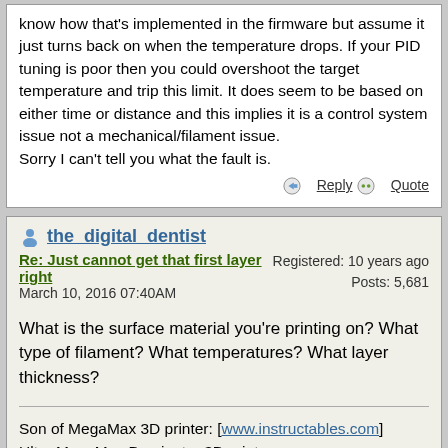know how that's implemented in the firmware but assume it just turns back on when the temperature drops. If your PID tuning is poor then you could overshoot the target temperature and trip this limit. It does seem to be based on either time or distance and this implies it is a control system issue not a mechanical/filament issue.
Sorry I can't tell you what the fault is.
Reply  Quote
the_digital_dentist
Re: Just cannot get that first layer right
March 10, 2016 07:40AM
Registered: 10 years ago
Posts: 5,681
What is the surface material you're printing on? What type of filament? What temperatures? What layer thickness?
Son of MegaMax 3D printer: [www.instructables.com]
Ultra MegaMax Dominator 3D printer: [drmrehorst.blogspot.com]